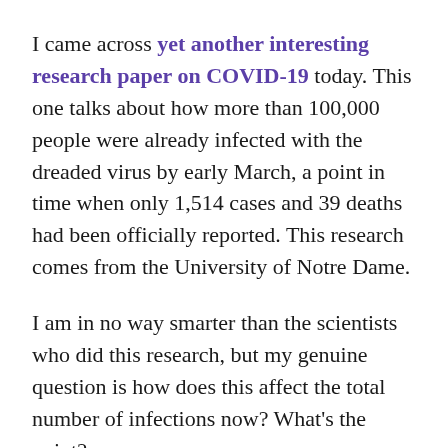I came across yet another interesting research paper on COVID-19 today. This one talks about how more than 100,000 people were already infected with the dreaded virus by early March, a point in time when only 1,514 cases and 39 deaths had been officially reported. This research comes from the University of Notre Dame.
I am in no way smarter than the scientists who did this research, but my genuine question is how does this affect the total number of infections now? What's the point?
Do you think we can stop the pandemic? Probably. If we had a government that cared enough? The prevalent attitude right now is, “Eh, it is what it is.”
It’s even scarier that many people are opposed to proper protective measures being taken – all